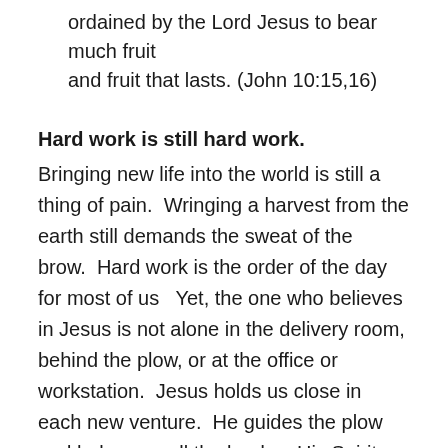ordained by the Lord Jesus to bear much fruit and fruit that lasts. (John 10:15,16)
Hard work is still hard work.
Bringing new life into the world is still a thing of pain.  Wringing a harvest from the earth still demands the sweat of the brow.  Hard work is the order of the day for most of us   Yet, the one who believes in Jesus is not alone in the delivery room, behind the plow, or at the office or workstation.  Jesus holds us close in each new venture.  He guides the plow and helps us pull the load as His Spirit gives us strength and wisdom, rest and refreshment as we work.